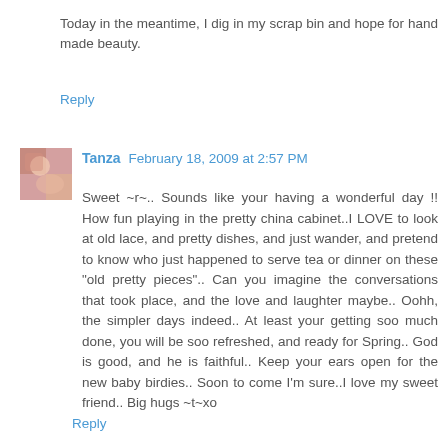Today in the meantime, I dig in my scrap bin and hope for hand made beauty.
Reply
Tanza  February 18, 2009 at 2:57 PM
Sweet ~r~.. Sounds like your having a wonderful day !! How fun playing in the pretty china cabinet..I LOVE to look at old lace, and pretty dishes, and just wander, and pretend to know who just happened to serve tea or dinner on these "old pretty pieces".. Can you imagine the conversations that took place, and the love and laughter maybe.. Oohh, the simpler days indeed.. At least your getting soo much done, you will be soo refreshed, and ready for Spring.. God is good, and he is faithful.. Keep your ears open for the new baby birdies.. Soon to come I'm sure..I love my sweet friend.. Big hugs ~t~xo
Reply